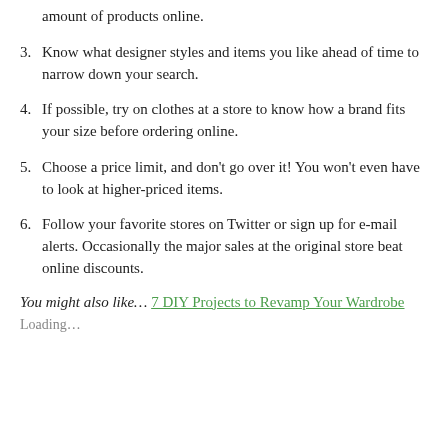amount of products online.
3. Know what designer styles and items you like ahead of time to narrow down your search.
4. If possible, try on clothes at a store to know how a brand fits your size before ordering online.
5. Choose a price limit, and don't go over it! You won't even have to look at higher-priced items.
6. Follow your favorite stores on Twitter or sign up for e-mail alerts. Occasionally the major sales at the original store beat online discounts.
You might also like… 7 DIY Projects to Revamp Your Wardrobe
Loading…